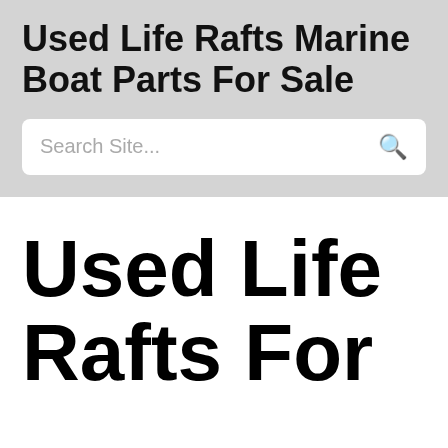Used Life Rafts Marine Boat Parts For Sale
Search Site...
Used Life Rafts For